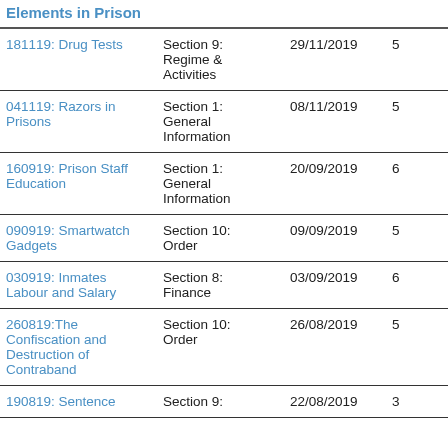Elements in Prison
|  | Section | Date | Num |  |
| --- | --- | --- | --- | --- |
| 181119: Drug Tests | Section 9: Regime & Activities | 29/11/2019 | 5 |  |
| 041119: Razors in Prisons | Section 1: General Information | 08/11/2019 | 5 |  |
| 160919: Prison Staff Education | Section 1: General Information | 20/09/2019 | 6 |  |
| 090919: Smartwatch Gadgets | Section 10: Order | 09/09/2019 | 5 |  |
| 030919: Inmates Labour and Salary | Section 8: Finance | 03/09/2019 | 6 |  |
| 260819:The Confiscation and Destruction of Contraband | Section 10: Order | 26/08/2019 | 5 |  |
| 190819: Sentence | Section 9: | 22/08/2019 | 3 |  |